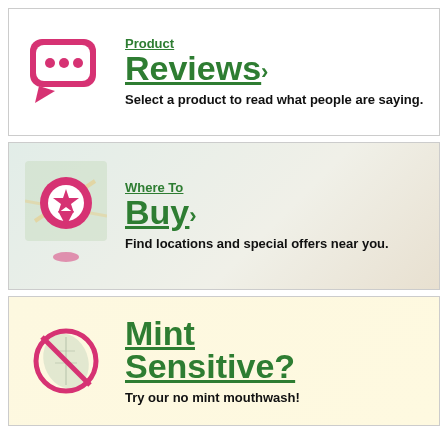[Figure (illustration): Pink speech bubble icon with three dots, representing product reviews]
Product Reviews›
Select a product to read what people are saying.
[Figure (illustration): Map background with a pink location pin icon with a star, representing where to buy]
Where To Buy›
Find locations and special offers near you.
[Figure (illustration): Yellow background with a pink prohibition/no symbol over a mint leaf, representing mint sensitive]
Mint Sensitive?
Try our no mint mouthwash!